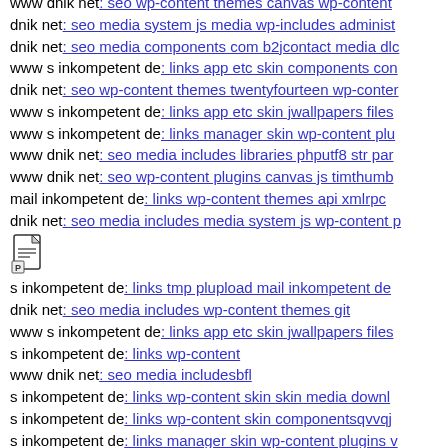www dnik net: seo wp-content themes canvas wp-content
dnik net: seo media system js media wp-includes administ
dnik net: seo media components com b2jcontact media dlc
www s inkompetent de: links app etc skin components con
dnik net: seo wp-content themes twentyfourteen wp-conter
www s inkompetent de: links app etc skin jwallpapers files
www s inkompetent de: links manager skin wp-content plu
www dnik net: seo media includes libraries phputf8 str par
www dnik net: seo wp-content plugins canvas js timthumb
mail inkompetent de: links wp-content themes api xmlrpc
dnik net: seo media includes media system js wp-content p
[Figure (illustration): Small document/page icon]
s inkompetent de: links tmp plupload mail inkompetent de
dnik net: seo media includes wp-content themes git
www s inkompetent de: links app etc skin jwallpapers files
s inkompetent de: links wp-content
www dnik net: seo media includesbfl
s inkompetent de: links wp-content skin skin media downl
s inkompetent de: links wp-content skin componentsqvvqj
s inkompetent de: links manager skin wp-content plugins v
dnik net: seo wp-contenth'xbeis